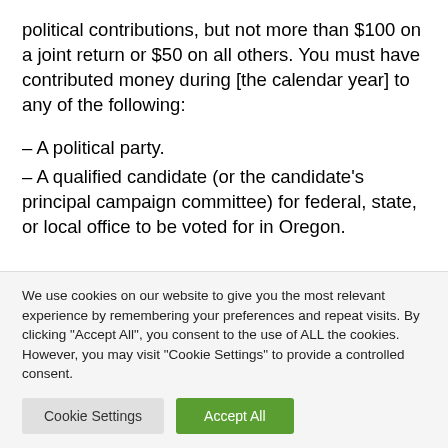political contributions, but not more than $100 on a joint return or $50 on all others. You must have contributed money during [the calendar year] to any of the following:
– A political party.
– A qualified candidate (or the candidate's principal campaign committee) for federal, state, or local office to be voted for in Oregon.
We use cookies on our website to give you the most relevant experience by remembering your preferences and repeat visits. By clicking "Accept All", you consent to the use of ALL the cookies. However, you may visit "Cookie Settings" to provide a controlled consent.